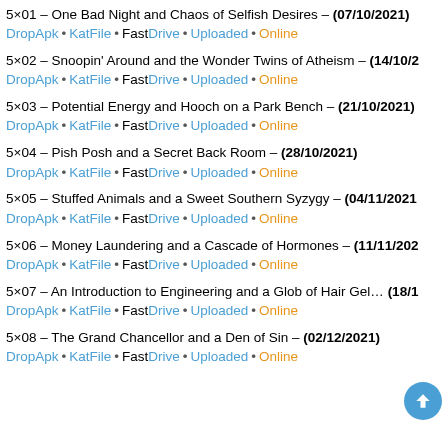5×01 – One Bad Night and Chaos of Selfish Desires – (07/10/2021)
DropApk • KatFile • FastDrive • Uploaded • Online
5×02 – Snoopin' Around and the Wonder Twins of Atheism – (14/10/2021)
DropApk • KatFile • FastDrive • Uploaded • Online
5×03 – Potential Energy and Hooch on a Park Bench – (21/10/2021)
DropApk • KatFile • FastDrive • Uploaded • Online
5×04 – Pish Posh and a Secret Back Room – (28/10/2021)
DropApk • KatFile • FastDrive • Uploaded • Online
5×05 – Stuffed Animals and a Sweet Southern Syzygy – (04/11/2021)
DropApk • KatFile • FastDrive • Uploaded • Online
5×06 – Money Laundering and a Cascade of Hormones – (11/11/2021)
DropApk • KatFile • FastDrive • Uploaded • Online
5×07 – An Introduction to Engineering and a Glob of Hair Gel – (18/11/...)
DropApk • KatFile • FastDrive • Uploaded • Online
5×08 – The Grand Chancellor and a Den of Sin – (02/12/2021)
DropApk • KatFile • FastDrive • Uploaded • Online